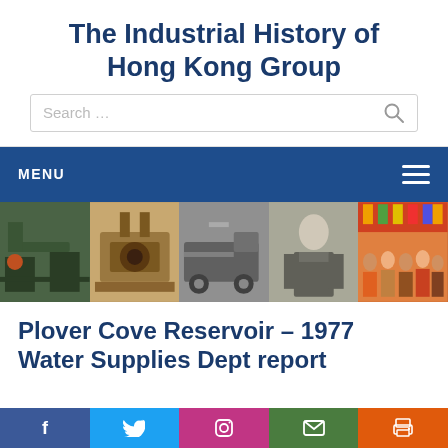The Industrial History of Hong Kong Group
[Figure (screenshot): Search bar with placeholder text 'Search …' and a magnifying glass icon]
MENU
[Figure (photo): A horizontal strip of five historical photos: workers at industrial equipment, old machinery room, a truck, a military officer, and a group of people in front of colorful decorations]
Plover Cove Reservoir – 1977 Water Supplies Dept report
[Figure (screenshot): Social media share bar with Facebook, Twitter, Instagram, email, and print buttons]